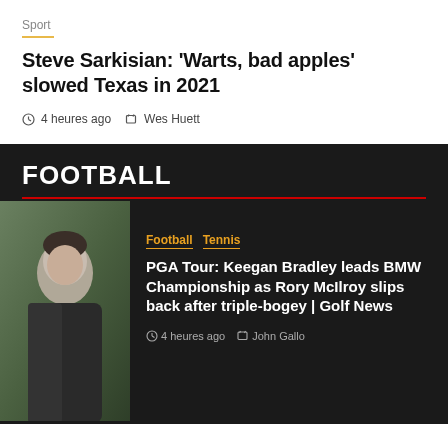Sport
Steve Sarkisian: ‘Warts, bad apples’ slowed Texas in 2021
4 heures ago   Wes Huett
FOOTBALL
[Figure (photo): Photo of a man (appears to be a sports figure) in a dark jacket against a green outdoor background]
Football   Tennis
PGA Tour: Keegan Bradley leads BMW Championship as Rory McIlroy slips back after triple-bogey | Golf News
4 heures ago   John Gallo